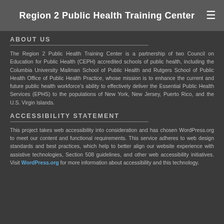Region 2 Public Health Training Center
ABOUT US
The Region 2 Public Health Training Center is a partnership of two Council on Education for Public Health (CEPH) accredited schools of public health, including the Columbia University Mailman School of Public Health and Rutgers School of Public Health Office of Public Health Practice, whose mission is to enhance the current and future public health workforce's ability to effectively deliver the Essential Public Health Services (EPHS) to the populations of New York, New Jersey, Puerto Rico, and the U.S. Virgin Islands.
ACCESSIBILITY STATEMENT
This project takes web accessibility into consideration and has chosen WordPress.org to meet our content and functional requirements. This service adheres to web design standards and best practices, which help to better align our website experience with assistive technologies, Section 508 guidelines, and other web accessibility initiatives. Visit WordPress.org for more information about accessibility and this technology.